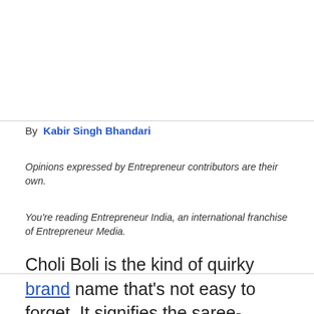By  Kabir Singh Bhandari
Opinions expressed by Entrepreneur contributors are their own.
You're reading Entrepreneur India, an international franchise of Entrepreneur Media.
Choli Boli is the kind of quirky brand name that's not easy to forget. It signifies the saree-blouse which hides your inner thoughts and attitude, a layer that is close to your